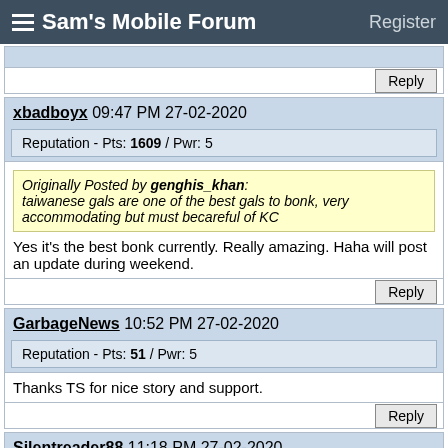Sam's Mobile Forum  Register
[partial post truncated at top] Reply
xbadboyx 09:47 PM 27-02-2020
Reputation - Pts: 1609 / Pwr: 5
Originally Posted by genghis_khan: taiwanese gals are one of the best gals to bonk, very accommodating but must becareful of KC
Yes it's the best bonk currently. Really amazing. Haha will post an update during weekend.
Reply
GarbageNews 10:52 PM 27-02-2020
Reputation - Pts: 51 / Pwr: 5
Thanks TS for nice story and support.
Reply
Silentreader88 11:18 PM 27-02-2020
Reputation - Pts: 12499 / Pwr: 11